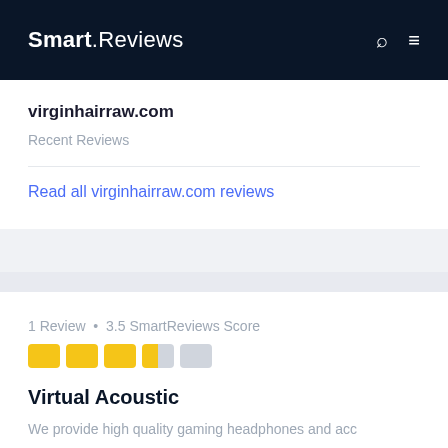Smart.Reviews
virginhairraw.com
Recent Reviews
Read all virginhairraw.com reviews
1 Review • 3.5 SmartReviews Score
Virtual Acoustic
We provide high quality gaming headphones and acc